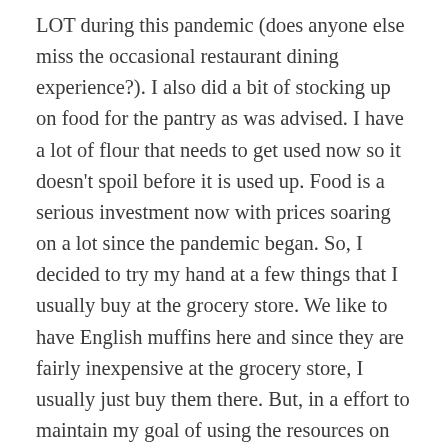LOT during this pandemic (does anyone else miss the occasional restaurant dining experience?). I also did a bit of stocking up on food for the pantry as was advised. I have a lot of flour that needs to get used now so it doesn't spoil before it is used up. Food is a serious investment now with prices soaring on a lot since the pandemic began. So, I decided to try my hand at a few things that I usually buy at the grocery store. We like to have English muffins here and since they are fairly inexpensive at the grocery store, I usually just buy them there. But, in a effort to maintain my goal of using the resources on hand to keep me out of the grocery store whenever possible, I decided to try to make a different but similar breakfast treat. Crumpets are just the ticket! Now, I have made them in the past, and they did come out well, so I'm not sure why it has taken me so long to try my hand at them again, but I figured why not? Thinking that perhaps maybe you